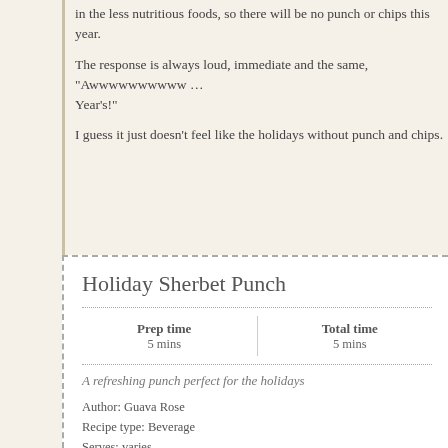in the less nutritious foods, so there will be no punch or chips this year.
The response is always loud, immediate and the same, "Awwwwwwwwww … Happy New Year's!"
I guess it just doesn't feel like the holidays without punch and chips.
Holiday Sherbet Punch
| Prep time | Total time |
| --- | --- |
| 5 mins | 5 mins |
A refreshing punch perfect for the holidays
Author: Guava Rose
Recipe type: Beverage
Serves: varies
Ingredients
½ gallon sherbet
½ gallon juice (to complement sherbet flavor)
2 (2 liter) bottles ginger ale
Instructions
Scoop sherbet into a large punch bowl.